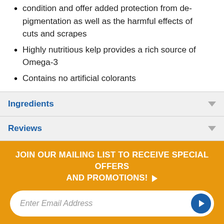condition and offer added protection from de-pigmentation as well as the harmful effects of cuts and scrapes
Highly nutritious kelp provides a rich source of Omega-3
Contains no artificial colorants
| Ingredients |
| Reviews |
JOIN OUR MAILING LIST TO RECEIVE SPECIAL OFFERS AND PROMOTIONS!
Enter Email Address
SOCIAL MEDIA